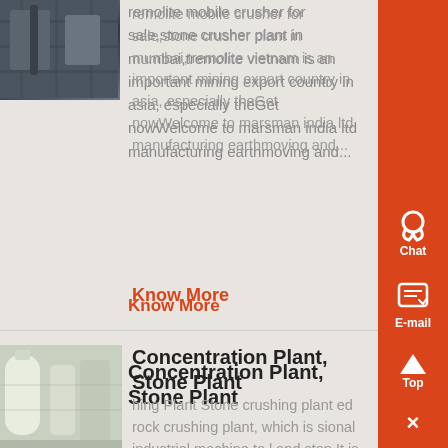[Figure (photo): Industrial crusher machinery photo]
remolite mobile crusher for sale,stone crusher plant in mumbai,tremolite vietnam is an important mining export country in asia, especially theGet nowWelcome to marsman india ltd manufacturing earthmoving and...
Know More
[Figure (photo): Concentration plant industrial equipment photo]
Concentration Plant, Stone Plant
hing Plant Stone crushing plant ed rock crushing plant, which is sional industrial machine to l and ston It is mainly composed of vibrating feeder, jaw crusher, impact crusher, Read More...
Know More